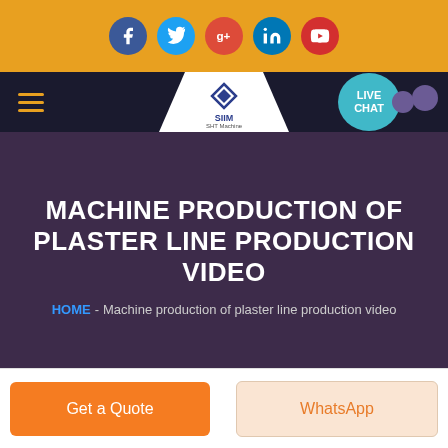[Figure (screenshot): Top social media bar with Facebook, Twitter, Google+, LinkedIn, and YouTube icon buttons on golden/amber background]
[Figure (screenshot): Navigation bar with hamburger menu, SIIM logo in white trapezoid shape, and LIVE CHAT button on dark navy background]
MACHINE PRODUCTION OF PLASTER LINE PRODUCTION VIDEO
HOME - Machine production of plaster line production video
Get a Quote
WhatsApp